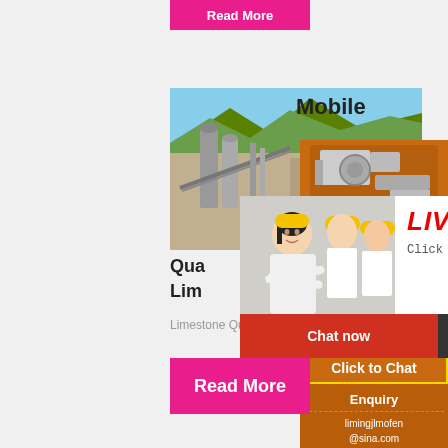[Figure (other): Pink/magenta Read More button at top]
[Figure (photo): Limestone quarry facility with silos, conveyor belts and mountains in background]
Mobile
[Figure (photo): Live chat overlay with woman in hard hat, red LIVE CHAT text, Chat now and Chat later buttons]
[Figure (photo): Orange panel with mobile crushing/screening equipment images, Enjoy 3% discount bar, Click to Chat button, Enquiry section, limingjlmofen@sina.com email]
Qua...
Lim...
Limestone Quarrying Process: The limes...
[Figure (other): Pink/magenta Read More button at bottom]